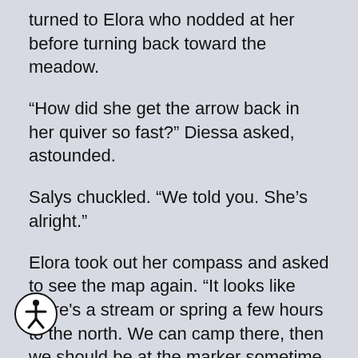turned to Elora who nodded at her before turning back toward the meadow.
“How did she get the arrow back in her quiver so fast?” Diessa asked, astounded.
Salys chuckled. “We told you. She’s alright.”
Elora took out her compass and asked to see the map again. “It looks like there's a stream or spring a few hours to the north. We can camp there, then we should be at the marker sometime mid morning tomorrow.”
They followed their ranger until the sun was ng on top of the bare hills in the distance. As predicted, they came upon a small stream
[Figure (illustration): Accessibility icon: a circular button with a person/human figure symbol inside, black outline on white background]